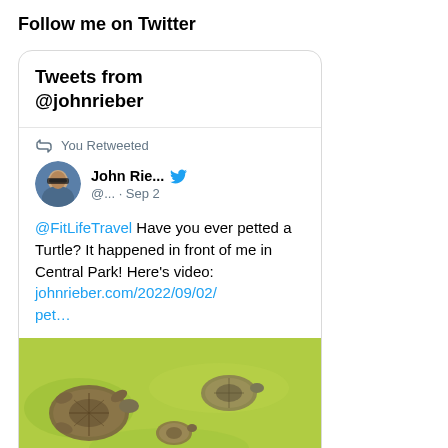Follow me on Twitter
Tweets from @johnrieber
You Retweeted
John Rie... @... · Sep 2
@FitLifeTravel Have you ever petted a Turtle? It happened in front of me in Central Park! Here's video: johnrieber.com/2022/09/02/pet…
[Figure (photo): Photo of turtles swimming in green water in Central Park]